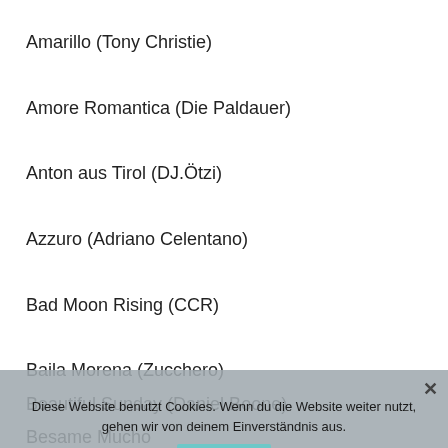Amarillo (Tony Christie)
Amore Romantica (Die Paldauer)
Anton aus Tirol (DJ.Ötzi)
Azzuro (Adriano Celentano)
Bad Moon Rising (CCR)
Baila Morena (Zucchero)
Beautiful Sunday (Daniel Boone)
Besame Mucho
Diese Website benutzt Cookies. Wenn du die Website weiter nutzt, gehen wir von deinem Einverständnis aus.